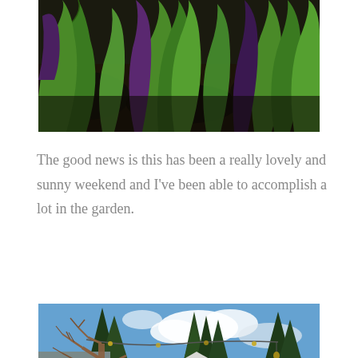[Figure (photo): Close-up photo of green plant seedlings emerging from dark soil, viewed from above.]
The good news is this has been a really lovely and sunny weekend and I've been able to accomplish a lot in the garden.
[Figure (photo): Photo of a small white garden shed or cottage surrounded by autumn trees with bare branches, green hedges, and a blue sky with clouds. A string of lights is visible between the trees. A house deck is visible on the left.]